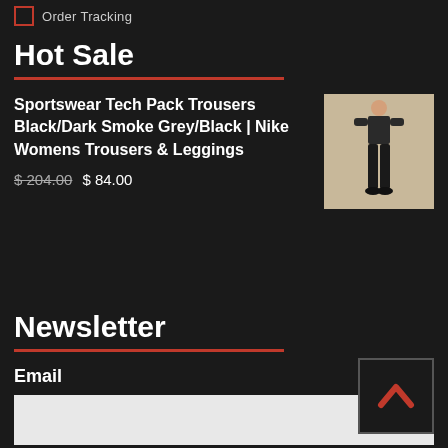Order Tracking
Hot Sale
Sportswear Tech Pack Trousers Black/Dark Smoke Grey/Black | Nike Womens Trousers & Leggings
$ 204.00  $ 84.00
[Figure (photo): Product image of Nike Sportswear Tech Pack Trousers, showing a person wearing dark trousers]
Newsletter
Email
[Figure (other): Back to top button with orange/red chevron up arrow on dark background]